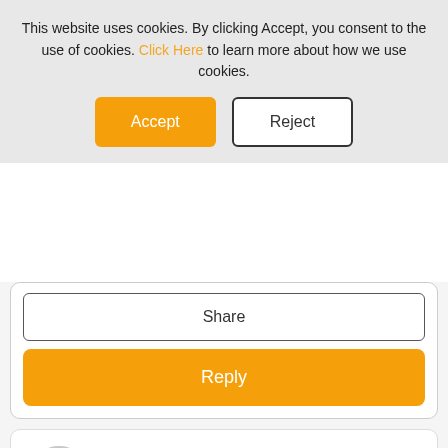This website uses cookies. By clicking Accept, you consent to the use of cookies. Click Here to learn more about how we use cookies.
[Figure (screenshot): Accept button (orange) and Reject button (white with border) for cookie consent]
Share
Reply
StevenLC
Engaged Sweeper
a month ago